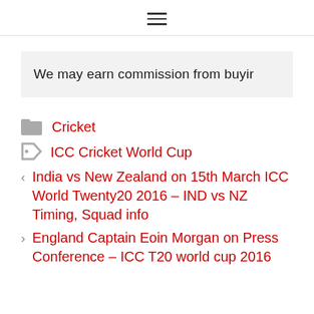≡
We may earn commission from buyir
Cricket
ICC Cricket World Cup
< India vs New Zealand on 15th March ICC World Twenty20 2016 – IND vs NZ Timing, Squad info
> England Captain Eoin Morgan on Press Conference – ICC T20 world cup 2016